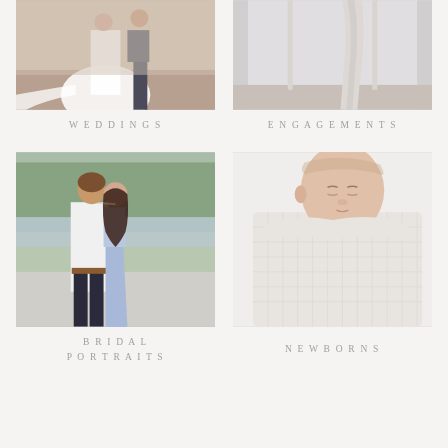[Figure (photo): Top portion of wedding photo showing bride in white dress and groom on what appears to be a porch or walkway]
[Figure (photo): Top portion of engagement or bridal photo showing white curtains/drapes in an elegant interior setting]
WEDDINGS
ENGAGEMENTS
[Figure (photo): Couple kissing outdoors near waterfront; man in white shirt, woman in light blue dress, trees and water in background]
[Figure (photo): Sleeping newborn baby wrapped in white textured blanket/swaddle]
BRIDAL PORTRAITS
NEWBORNS